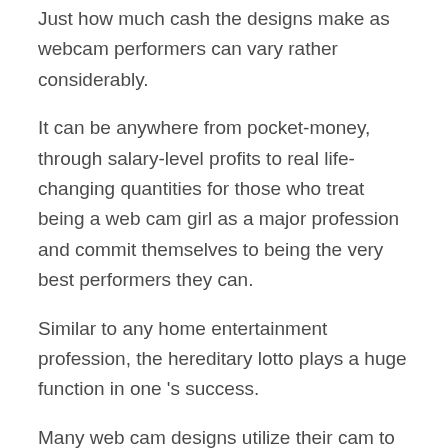Just how much cash the designs make as webcam performers can vary rather considerably.
It can be anywhere from pocket-money, through salary-level profits to real life-changing quantities for those who treat being a web cam girl as a major profession and commit themselves to being the very best performers they can.
Similar to any home entertainment profession, the hereditary lotto plays a huge function in one 's success.
Many web cam designs utilize their cam to demonstrate their sexuality and to have a little bit of enjoyable.
They likewise use a service, which is the ability to be monitored while they masturbate themselves or see other people masturbating.
It can be an efficient way to make some extra money.